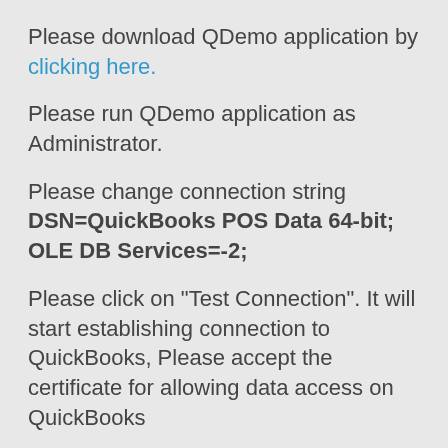Please download QDemo application by clicking here.
Please run QDemo application as Administrator.
Please change connection string DSN=QuickBooks POS Data 64-bit; OLE DB Services=-2;
Please click on "Test Connection". It will start establishing connection to QuickBooks, Please accept the certificate for allowing data access on QuickBooks